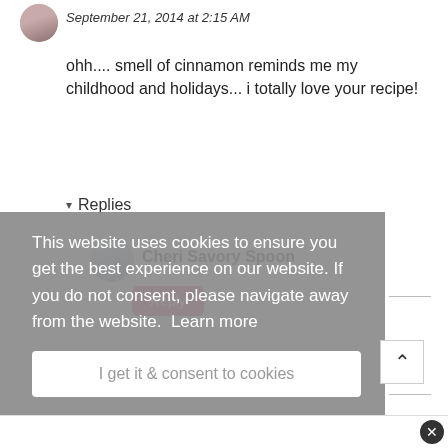September 21, 2014 at 2:15 AM
ohh.... smell of cinnamon reminds me my childhood and holidays... i totally love your recipe!
Reply
▾ Replies
Cheri Savory Spoon
This website uses cookies to ensure you get the best experience on our website. If you do not consent, please navigate away from the website. Learn more
I get it & consent to cookies